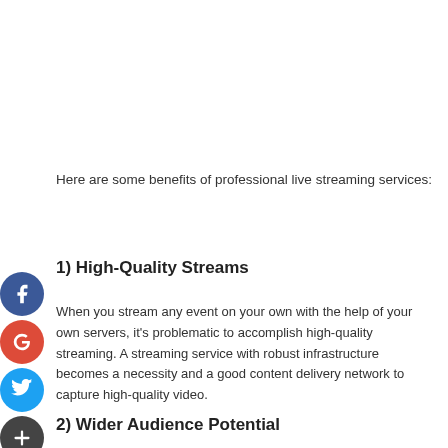Here are some benefits of professional live streaming services:
1) High-Quality Streams
When you stream any event on your own with the help of your own servers, it's problematic to accomplish high-quality streaming. A streaming service with robust infrastructure becomes a necessity and a good content delivery network to capture high-quality video.
2) Wider Audience Potential